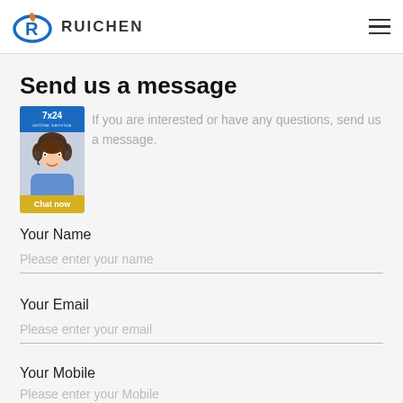RUICHEN
Send us a message
[Figure (screenshot): 7x24 online service chat widget with female customer service avatar and Chat now button]
If you are interested or have any questions, send us a message.
Your Name
Please enter your name
Your Email
Please enter your email
Your Mobile
Please enter your Mobile